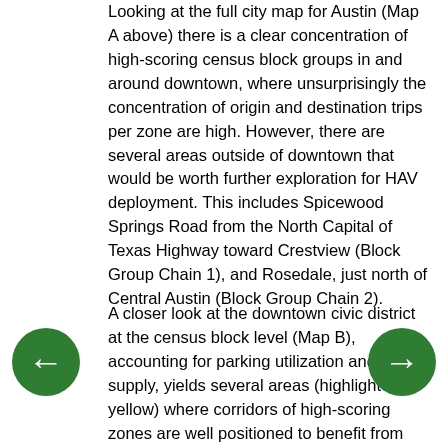Looking at the full city map for Austin (Map A above) there is a clear concentration of high-scoring census block groups in and around downtown, where unsurprisingly the concentration of origin and destination trips per zone are high. However, there are several areas outside of downtown that would be worth further exploration for HAV deployment. This includes Spicewood Springs Road from the North Capital of Texas Highway toward Crestview (Block Group Chain 1), and Rosedale, just north of Central Austin (Block Group Chain 2).
A closer look at the downtown civic district at the census block level (Map B), accounting for parking utilization and supply, yields several areas (highlighted in yellow) where corridors of high-scoring zones are well positioned to benefit from HAVs. This includes the southern boundary of the University of Texas Austin (Block Chain 1); West 15th Street (Block Chain 2); 11th Street south of the State Capitol (Block Chain 3); 5th and 6th Streets (Block Chain 4); and along the Colorado River in Downtown (Block